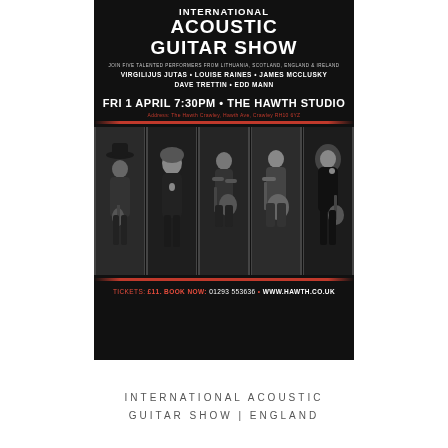[Figure (illustration): Event poster for International Acoustic Guitar Show on black background. Shows title in large white bold text, performer names, date/time/venue info, red horizontal lines, and a strip of five black-and-white photos of guitarists.]
INTERNATIONAL ACOUSTIC GUITAR SHOW | ENGLAND